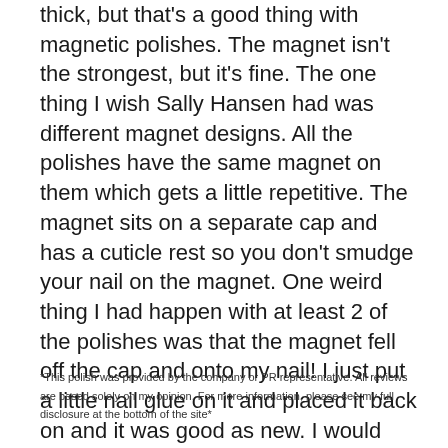thick, but that's a good thing with magnetic polishes. The magnet isn't the strongest, but it's fine. The one thing I wish Sally Hansen had was different magnet designs. All the polishes have the same magnet on them which gets a little repetitive. The magnet sits on a separate cap and has a cuticle rest so you don't smudge your nail on the magnet. One weird thing I had happen with at least 2 of the polishes was that the magnet fell off the cap and onto my nail! I just put a little nail glue on it and placed it back on and it was good as new. I would shake the cap a couple times before putting it against my nail just to be safe.
*This polish was provided by the company or PR representative. All reviews are based solely on my opinion. For more information, please see my full disclosure at the bottom of the site*